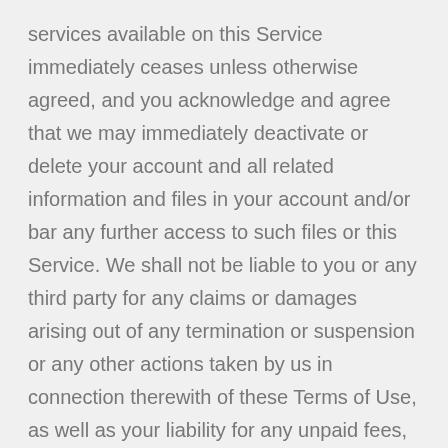services available on this Service immediately ceases unless otherwise agreed, and you acknowledge and agree that we may immediately deactivate or delete your account and all related information and files in your account and/or bar any further access to such files or this Service. We shall not be liable to you or any third party for any claims or damages arising out of any termination or suspension or any other actions taken by us in connection therewith of these Terms of Use, as well as your liability for any unpaid fees, shall survive any termination.
NOTICES